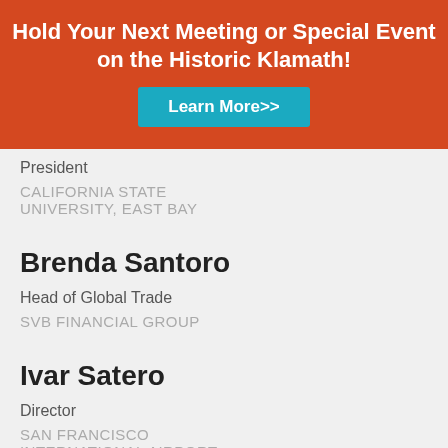[Figure (infographic): Orange banner with white bold text 'Hold Your Next Meeting or Special Event on the Historic Klamath!' and a teal 'Learn More>>' button]
President
CALIFORNIA STATE UNIVERSITY, EAST BAY
Brenda Santoro
Head of Global Trade
SVB FINANCIAL GROUP
Ivar Satero
Director
SAN FRANCISCO
INTERNATIONAL AIRPORT